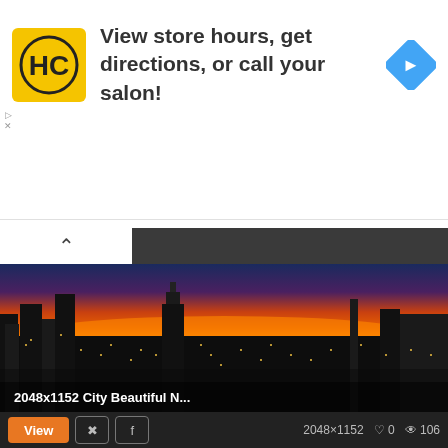[Figure (infographic): Advertisement banner: HC (Hair Club) logo on yellow square, text 'View store hours, get directions, or call your salon!', blue diamond navigation icon on right]
[Figure (photo): City skyline at night/sunset with orange sky, New York City skyscrapers illuminated, Empire State Building visible. Caption reads '2048x1152 City Beautiful N...']
2048×1152   ♡ 0   👁 106